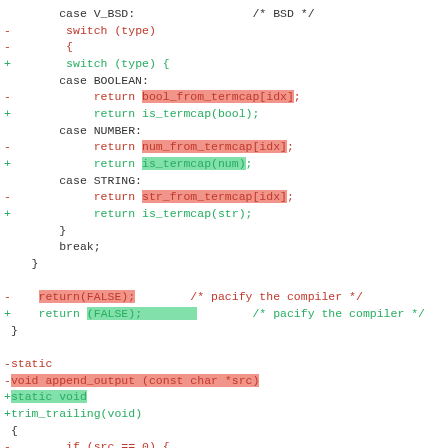[Figure (screenshot): A code diff showing changes in a C source file. The diff includes modifications to a BSD switch statement returning bool/num/str from termcap, a return(FALSE) statement, and a refactoring from append_output to trim_trailing function signature.]